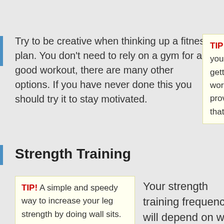Try to be creative when thinking up a fitness plan. You don't need to rely on a gym for a good workout, there are many other options. If you have never done this you should try it to stay motivated.
TIP! If you are constantly dedicated to your fitness and better health, then getting a professional trainer is well worth your money. A personal trainer can provide you with professional knowledge that they can share with you.
Strength Training
TIP! A simple and speedy way to increase your leg strength by doing wall sits. All you
Your strength training frequency will depend on what